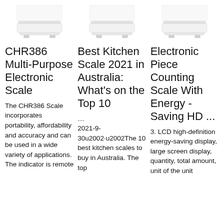[Figure (photo): Product image of a white electronic kitchen scale, partial view cropped at top]
[Figure (photo): Product image of a white electronic kitchen scale, partial view cropped at top]
[Figure (photo): Product image of a white electronic scale, partial view cropped at top]
CHR386 Multi-Purpose Electronic Scale
Best Kitchen Scale 2021 in Australia: What's on the Top 10
Electronic Piece Counting Scale With Energy - Saving HD ...
The CHR386 Scale incorporates portability, affordability and accuracy and can be used in a wide variety of applications. The indicator is remote
...

2021-9-30u2002·u2002The 10 best kitchen scales to buy in Australia. The top
3. LCD high-definition energy-saving display, large screen display, quantity, total amount, unit of the unit